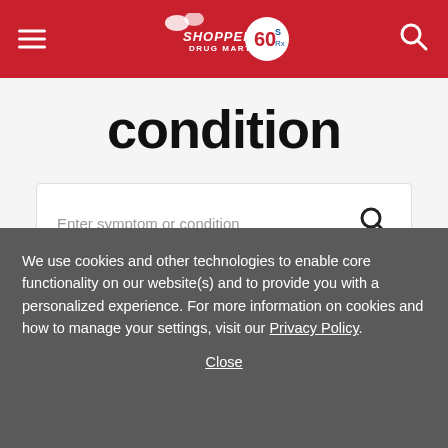Shoppers Drug Mart 60
condition
Enter symptom or condition
We use cookies and other technologies to enable core functionality on our website(s) and to provide you with a personalized experience. For more information on cookies and how to manage your settings, visit our Privacy Policy.
Close